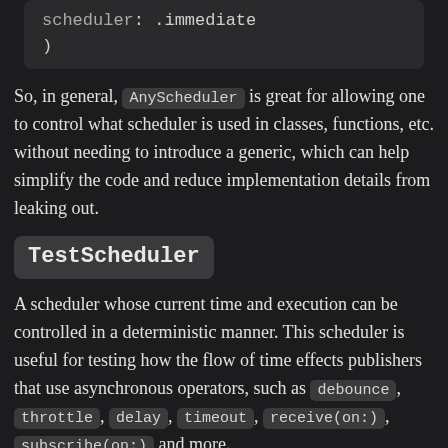scheduler: .immediate
)
So, in general, AnyScheduler is great for allowing one to control what scheduler is used in classes, functions, etc. without needing to introduce a generic, which can help simplify the code and reduce implementation details from leaking out.
TestScheduler
A scheduler whose current time and execution can be controlled in a deterministic manner. This scheduler is useful for testing how the flow of time effects publishers that use asynchronous operators, such as debounce, throttle, delay, timeout, receive(on:), subscribe(on:) and more.
For example, consider the following race operator that runs two futures in parallel, but only emits the first one